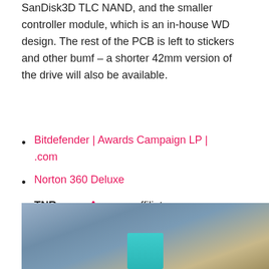SanDisk3D TLC NAND, and the smaller controller module, which is an in-house WD design. The rest of the PCB is left to stickers and other bumf – a shorter 42mm version of the drive will also be available.
Bitdefender | Awards Campaign LP | .com
Norton 360 Deluxe
TNR earns Amazon affiliate commissions from qualifying purchases. You can support the site directly via Paypal donations 🎂. Thank you!
[Figure (photo): Partial photo of a computer component or keyboard with a teal/blue card visible at the bottom, blurred background]